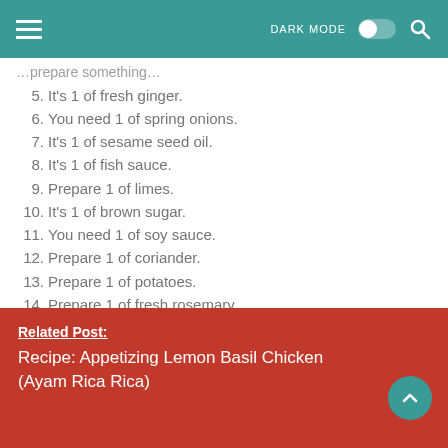DARK MODE
5. It's 1 of fresh ginger.
6. You need 1 of spring onions.
7. It's 1 of sesame seed oil.
8. It's 1 of fish sauce.
9. Prepare 1 of limes.
10. It's 1 of brown sugar.
11. You need 1 of soy sauce.
12. Prepare 1 of coriander.
13. Prepare 1 of potatoes.
14. Prepare 1 of fresh rosemary.
15. It's 1 of baby gem lettuce.
Related Post:
Recipe: Appetizing Lemon Basil Chicken (Ayam Rica Rica)